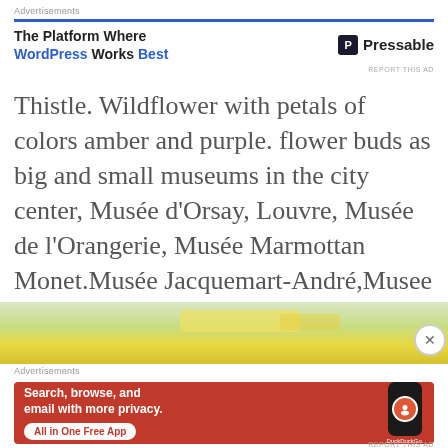Advertisements
[Figure (infographic): Pressable advertisement: 'The Platform Where WordPress Works Best' with Pressable logo]
Thistle. Wildflower with petals of colors amber and purple. flower buds as big and small museums in the city center, Musée d'Orsay, Louvre, Musée de l'Orangerie, Musée Marmottan Monet.Musée Jacquemart-André,Musee de Cluny...
[Figure (photo): Partial photo strip showing yellow/green blurred image]
Advertisements
[Figure (infographic): DuckDuckGo advertisement: 'Search, browse, and email with more privacy. All in One Free App' with phone showing DuckDuckGo logo]